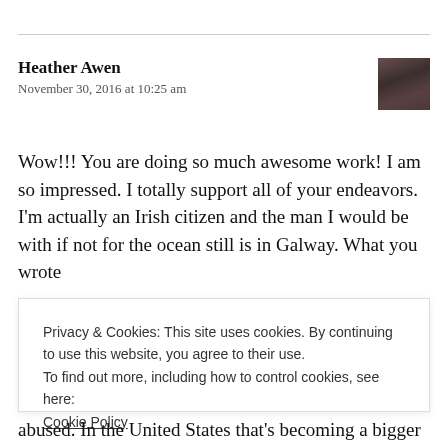Heather Awen
November 30, 2016 at 10:25 am
Wow!!! You are doing so much awesome work! I am so impressed. I totally support all of your endeavors. I'm actually an Irish citizen and the man I would be with if not for the ocean still is in Galway. What you wrote
Privacy & Cookies: This site uses cookies. By continuing to use this website, you agree to their use.
To find out more, including how to control cookies, see here:
Cookie Policy

[Close and accept button]
abused. In the United States that's becoming a bigger